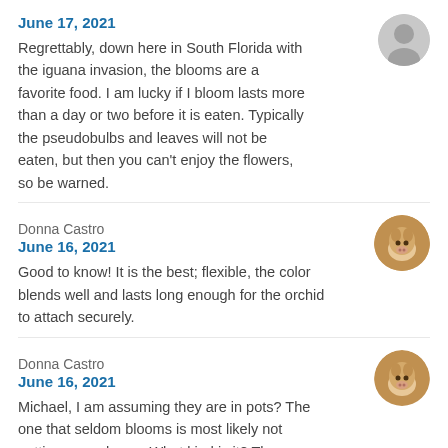June 17, 2021
Regrettably, down here in South Florida with the iguana invasion, the blooms are a favorite food. I am lucky if I bloom lasts more than a day or two before it is eaten. Typically the pseudobulbs and leaves will not be eaten, but then you can't enjoy the flowers, so be warned.
Donna Castro
June 16, 2021
Good to know! It is the best; flexible, the color blends well and lasts long enough for the orchid to attach securely.
Donna Castro
June 16, 2021
Michael, I am assuming they are in pots? The one that seldom blooms is most likely not getting enough sun. What kind is it? The struggling one, if not already on a tree,